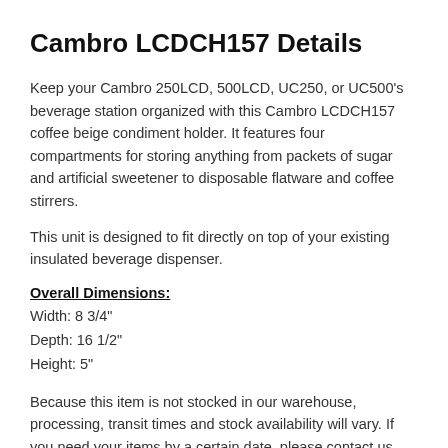Cambro LCDCH157 Details
Keep your Cambro 250LCD, 500LCD, UC250, or UC500's beverage station organized with this Cambro LCDCH157 coffee beige condiment holder. It features four compartments for storing anything from packets of sugar and artificial sweetener to disposable flatware and coffee stirrers.
This unit is designed to fit directly on top of your existing insulated beverage dispenser.
Overall Dimensions:
Width: 8 3/4"
Depth: 16 1/2"
Height: 5"
Because this item is not stocked in our warehouse, processing, transit times and stock availability will vary. If you need your items by a certain date, please contact us prior to placing your order. Expedited shipping availability may vary. We cannot guarantee that this item can be cancelled off of the order or returned once it